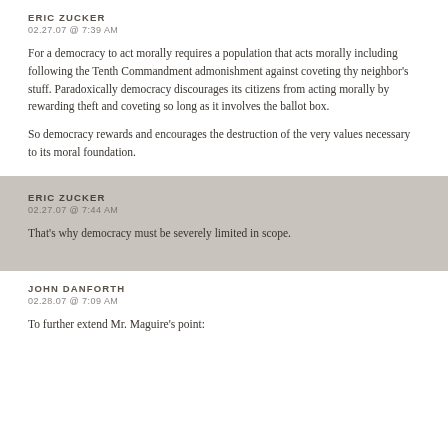ERIC ZUCKER
02.27.07 @ 7:39 AM
For a democracy to act morally requires a population that acts morally including following the Tenth Commandment admonishment against coveting thy neighbor's stuff. Paradoxically democracy discourages its citizens from acting morally by rewarding theft and coveting so long as it involves the ballot box.
So democracy rewards and encourages the destruction of the very values necessary to its moral foundation.
ERIC ZUCKER
02.27.07 @ 7:44 AM
That's why democracy must be severely limited in scope.
JOHN DANFORTH
02.28.07 @ 7:09 AM
To further extend Mr. Maguire's point: